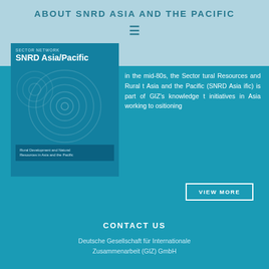ABOUT SNRD ASIA AND THE PACIFIC
[Figure (illustration): Book cover for SNRD Asia/Pacific: Sector Network, SNRD Asia/Pacific, Rural Development and Natural Resources in Asia and the Pacific, with concentric circle pattern]
in the mid-80s, the Sector tural Resources and Rural t Asia and the Pacific (SNRD Asia ific) is part of GIZ's knowledge t initiatives in Asia working to ositioning
VIEW MORE
– Data Protection
– Imprint
– Disclaimer
CONTACT US
Deutsche Gesellschaft für Internationale Zusammenarbeit (GIZ) GmbH